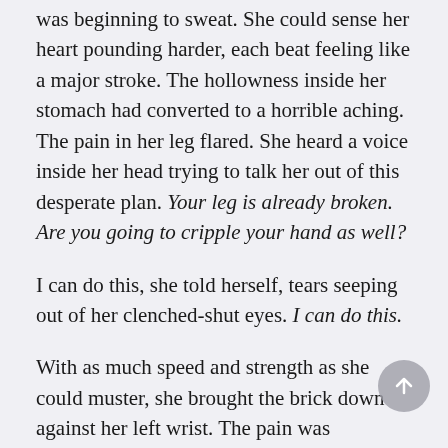She gripped the brick tightly. Her hand was beginning to sweat. She could sense her heart pounding harder, each beat feeling like a major stroke. The hollowness inside her stomach had converted to a horrible aching. The pain in her leg flared. She heard a voice inside her head trying to talk her out of this desperate plan. Your leg is already broken. Are you going to cripple your hand as well?
I can do this, she told herself, tears seeping out of her clenched-shut eyes. I can do this.
With as much speed and strength as she could muster, she brought the brick down against her left wrist. The pain was incredible. Her body began to shake. She cried out, her scream echoing around her.